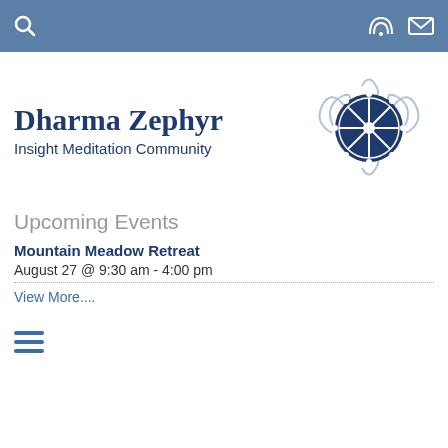Navigation bar with search, RSS, and mail icons
Dharma Zephyr
Insight Meditation Community
[Figure (logo): Dharma Wheel (Dharmachakra) emblem with decorative swirls in dark blue and light grey]
Upcoming Events
Mountain Meadow Retreat
August 27 @ 9:30 am - 4:00 pm
View More....